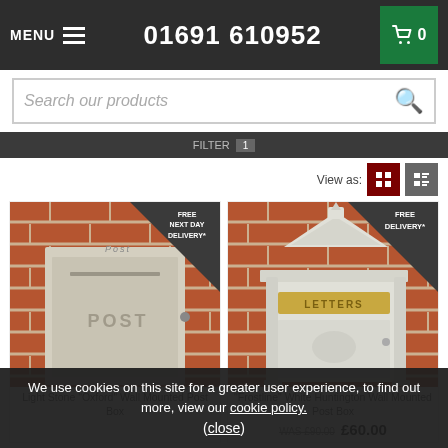MENU  01691 610952  Cart 0
Search our products
View as:
[Figure (photo): Light Stone Oxford Wall Mounted Post Box mounted on brick wall with FREE NEXT DAY DELIVERY badge]
[Figure (photo): Frostline White Huntington Wall Mounted Post Box mounted on brick wall with FREE DELIVERY badge]
Light Stone "Oxford" Wall Mounted Post Box
"Frostline" White Huntington Wall Mounted Post Box
WAS £90.00  £60.00
We use cookies on this site for a greater user experience, to find out more, view our cookie policy.
(close)